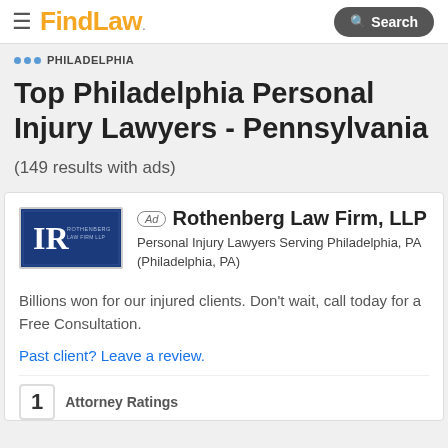FindLaw — Search
... PHILADELPHIA
Top Philadelphia Personal Injury Lawyers - Pennsylvania (149 results with ads)
Ad  Rothenberg Law Firm, LLP
Personal Injury Lawyers Serving Philadelphia, PA (Philadelphia, PA)
Billions won for our injured clients. Don't wait, call today for a Free Consultation.
Past client? Leave a review.
1  Attorney Ratings